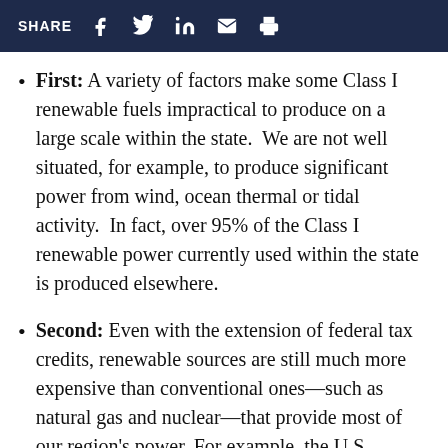SHARE
First: A variety of factors make some Class I renewable fuels impractical to produce on a large scale within the state.  We are not well situated, for example, to produce significant power from wind, ocean thermal or tidal activity.  In fact, over 95% of the Class I renewable power currently used within the state is produced elsewhere.
Second: Even with the extension of federal tax credits, renewable sources are still much more expensive than conventional ones—such as natural gas and nuclear—that provide most of our region's power. For example, the U.S. Energy Information Administration estimates that the